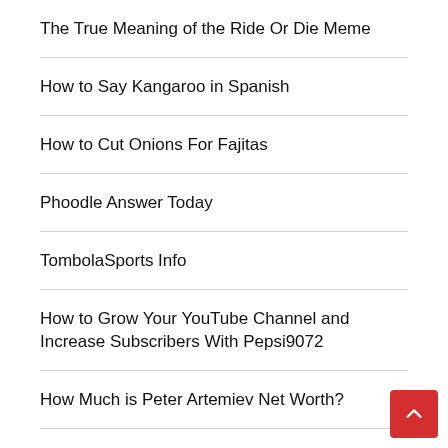The True Meaning of the Ride Or Die Meme
How to Say Kangaroo in Spanish
How to Cut Onions For Fajitas
Phoodle Answer Today
TombolaSports Info
How to Grow Your YouTube Channel and Increase Subscribers With Pepsi9072
How Much is Peter Artemiev Net Worth?
Meganbabiface: Get to know more about the social media sensation